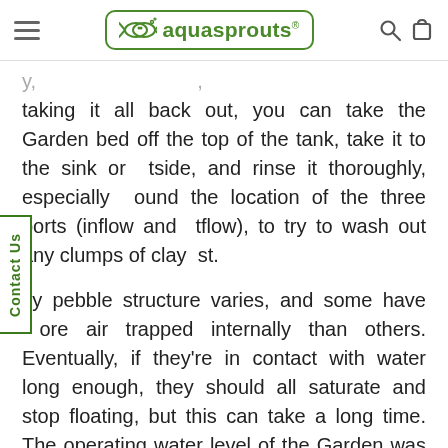aquasprouts
taking it all back out, you can take the Garden bed off the top of the tank, take it to the sink or outside, and rinse it thoroughly, especially around the location of the three ports (inflow and outflow), to try to wash out any clumps of clay dust.
Clay pebble structure varies, and some have more air trapped internally than others. Eventually, if they're in contact with water long enough, they should all saturate and stop floating, but this can take a long time. The operating water level of the Garden was designed to be low enough that it wouldn't float